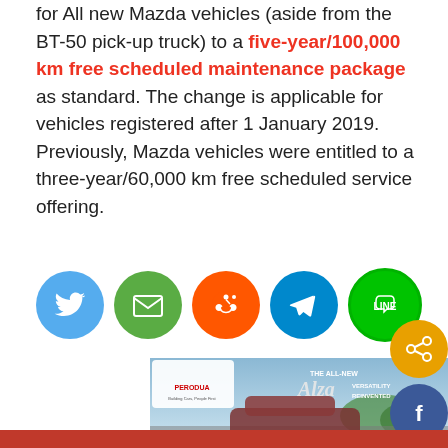for All new Mazda vehicles (aside from the BT-50 pick-up truck) to a five-year/100,000 km free scheduled maintenance package as standard. The change is applicable for vehicles registered after 1 January 2019. Previously, Mazda vehicles were entitled to a three-year/60,000 km free scheduled service offering.
[Figure (infographic): Social sharing icons: Twitter (blue), Email (green), Reddit (orange), Telegram (blue), LINE (green)]
[Figure (photo): Perodua Alza advertisement banner — THE ALL-NEW Alza, VERSATILITY REINVENTED]
[Figure (logo): Floating share/Facebook buttons on right side]